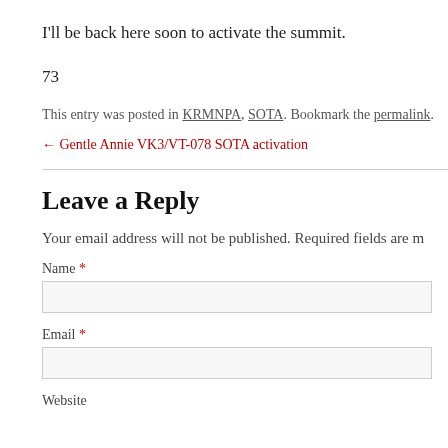I'll be back here soon to activate the summit.
73
This entry was posted in KRMNPA, SOTA. Bookmark the permalink.
← Gentle Annie VK3/VT-078 SOTA activation
Leave a Reply
Your email address will not be published. Required fields are m
Name *
Email *
Website